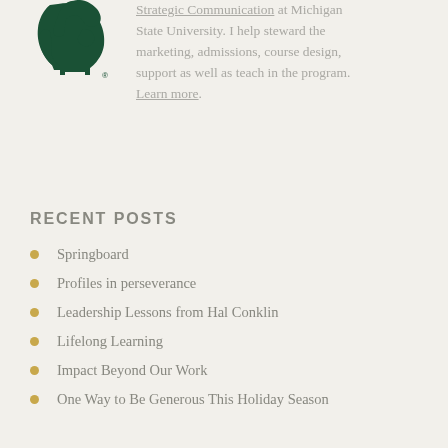[Figure (logo): Michigan State University Spartan helmet logo in dark green]
Strategic Communication at Michigan State University. I help steward the marketing, admissions, course design, support as well as teach in the program. Learn more.
RECENT POSTS
Springboard
Profiles in perseverance
Leadership Lessons from Hal Conklin
Lifelong Learning
Impact Beyond Our Work
One Way to Be Generous This Holiday Season